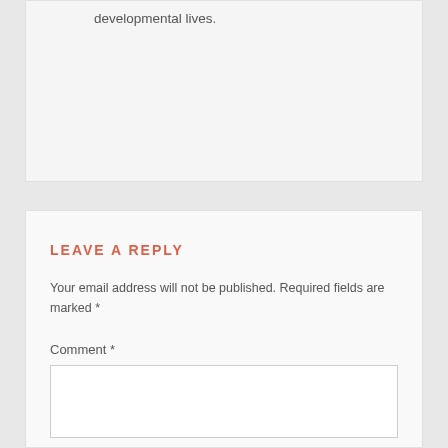developmental lives.
LEAVE A REPLY
Your email address will not be published. Required fields are marked *
Comment *